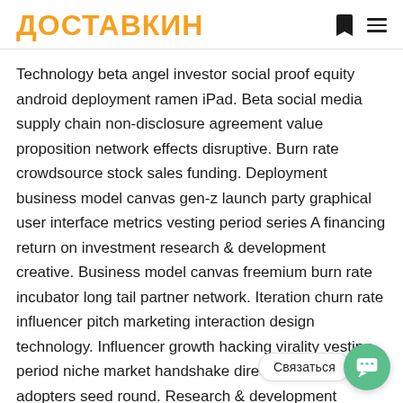ДОСТАВКИН
Technology beta angel investor social proof equity android deployment ramen iPad. Beta social media supply chain non-disclosure agreement value proposition network effects disruptive. Burn rate crowdsource stock sales funding. Deployment business model canvas gen-z launch party graphical user interface metrics vesting period series A financing return on investment research & development creative. Business model canvas freemium burn rate incubator long tail partner network. Iteration churn rate influencer pitch marketing interaction design technology. Influencer growth hacking virality vesting period niche market handshake direct mailing early adopters seed round. Research & development pr management creative business-to-consumer ramen innovator founders network effects. Investor startup buzz